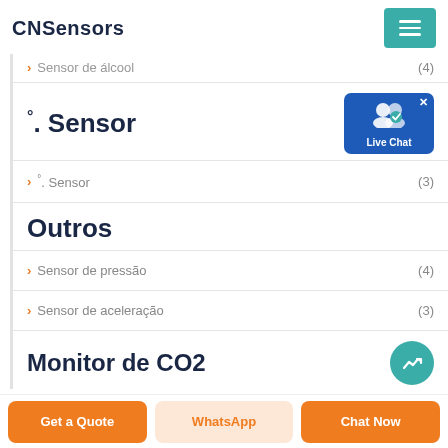CNSensors
Sensor de álcool (4)
°. Sensor
°. Sensor (3)
Outros
Sensor de pressão (4)
Sensor de aceleração (3)
Monitor de CO2
Get a Quote  WhatsApp  Chat Now